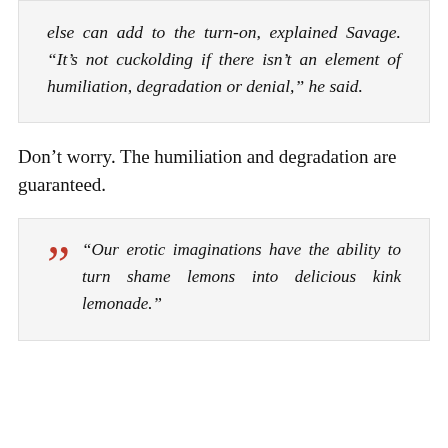else can add to the turn-on, explained Savage. “It’s not cuckolding if there isn’t an element of humiliation, degradation or denial,” he said.
Don’t worry. The humiliation and degradation are guaranteed.
“Our erotic imaginations have the ability to turn shame lemons into delicious kink lemonade.”